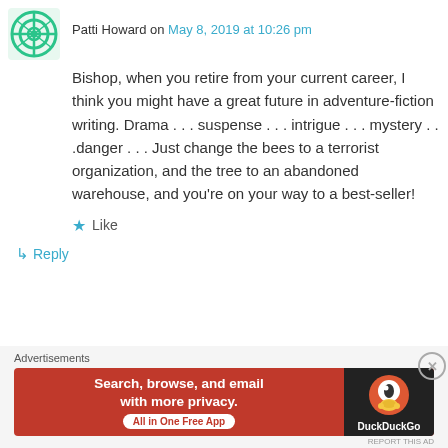Patti Howard on May 8, 2019 at 10:26 pm
Bishop, when you retire from your current career, I think you might have a great future in adventure-fiction writing. Drama . . . suspense . . . intrigue . . . mystery . . .danger . . . Just change the bees to a terrorist organization, and the tree to an abandoned warehouse, and you’re on your way to a best-seller!
Like
Reply
Advertisements
[Figure (screenshot): DuckDuckGo advertisement banner: orange/red background with text 'Search, browse, and email with more privacy. All in One Free App' and DuckDuckGo logo on dark background]